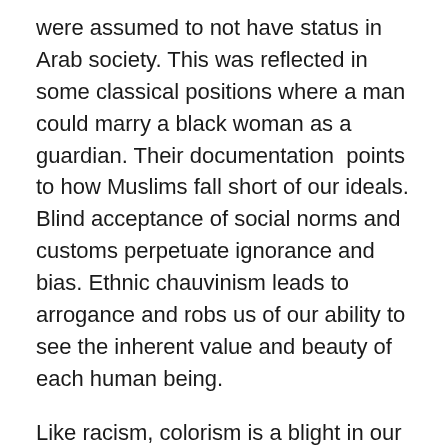were assumed to not have status in Arab society. This was reflected in some classical positions where a man could marry a black woman as a guardian. Their documentation points to how Muslims fall short of our ideals. Blind acceptance of social norms and customs perpetuate ignorance and bias. Ethnic chauvinism leads to arrogance and robs us of our ability to see the inherent value and beauty of each human being.
Like racism, colorism is a blight in our community.  I found the traces of colorism in my students' creative writing projects as they wrote about protagonists with skin as white as milk. Dark skin has been looked down upon in many Muslim societies through the ages. And now, there is a huge market playing into fears and insecurities.  Some halal and international markets in the US are stocked with bleaching cream. There are young girls who fear playing...